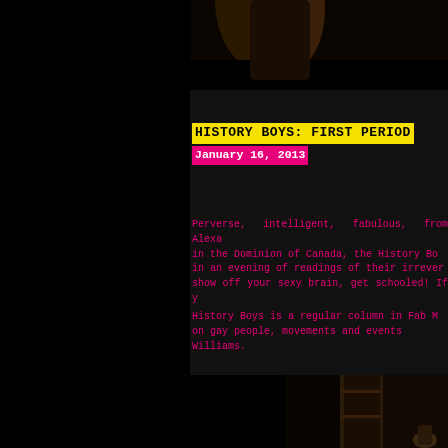[Figure (photo): Top portion of a photo showing a figure, partially cropped, against a dark background]
HISTORY BOYS: FIRST PERIOD
January 16, 2013
Perverse, intelligent, fabulous, from Alexandria in the Dominion of Canada, the History Boys join in an evening of readings of their irreverent... show off your sexy brain, get schooled! If y...
History Boys is a regular column in Fab M... on gay people, movements and events... Williams.
[Figure (photo): Bottom right photo showing a dark interior scene, partially cropped]